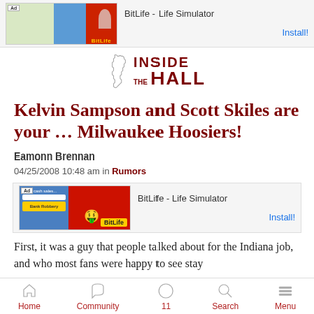[Figure (screenshot): Advertisement banner for BitLife - Life Simulator app with Install button]
[Figure (logo): Inside The Hall logo with Indiana state outline]
Kelvin Sampson and Scott Skiles are your … Milwaukee Hoosiers!
Eamonn Brennan
04/25/2008 10:48 am in Rumors
[Figure (screenshot): Second advertisement banner for BitLife - Life Simulator app with Install button]
First, it was a guy that people talked about for the Indiana job, and who most fans were happy to see stay
Home  Community  11  Search  Menu